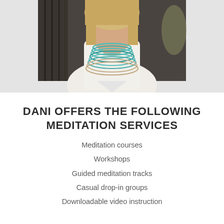[Figure (photo): Portrait photo of a woman with blonde hair wearing a white blouse and a multi-strand teal and beige necklace, photographed indoors against a dark background.]
DANI OFFERS THE FOLLOWING MEDITATION SERVICES
Meditation courses
Workshops
Guided meditation tracks
Casual drop-in groups
Downloadable video instruction